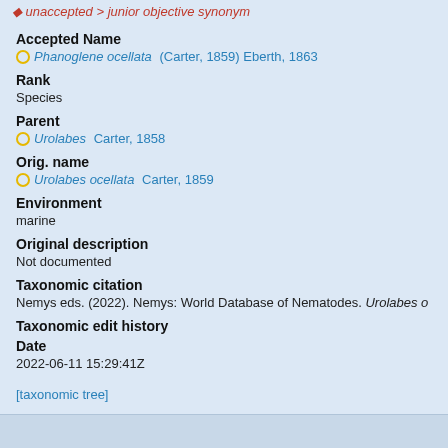unaccepted > junior objective synonym
Accepted Name
Phanoglene ocellata (Carter, 1859) Eberth, 1863
Rank
Species
Parent
Urolabes Carter, 1858
Orig. name
Urolabes ocellata Carter, 1859
Environment
marine
Original description
Not documented
Taxonomic citation
Nemys eds. (2022). Nemys: World Database of Nematodes. Urolabes o
Taxonomic edit history
Date
2022-06-11 15:29:41Z
[taxonomic tree]